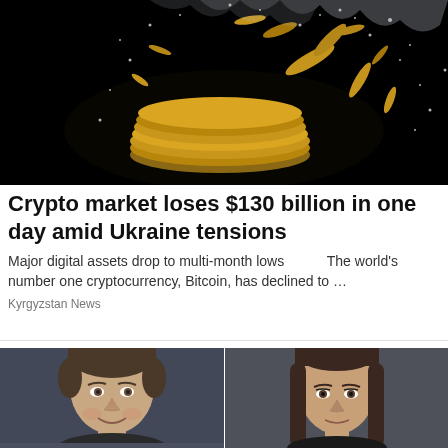[Figure (photo): Gold coins exploding/shattering against a black background, dramatic lighting]
Crypto market loses $130 billion in one day amid Ukraine tensions
Major digital assets drop to multi-month lows        The world’s number one cryptocurrency, Bitcoin, has declined to …
Kyrgyzstan News
[Figure (photo): Two side-by-side photos of people: a man with brown hair smiling on the left, and a woman with long brown hair on the right]